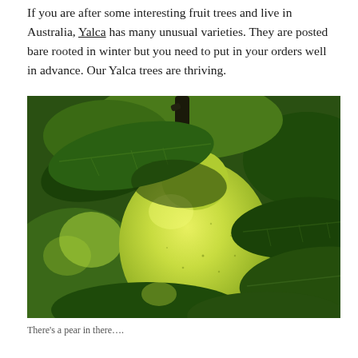If you are after some interesting fruit trees and live in Australia, Yalca has many unusual varieties. They are posted bare rooted in winter but you need to put in your orders well in advance. Our Yalca trees are thriving.
[Figure (photo): Close-up photograph of a large green pear hanging on a tree, surrounded by dark green leaves, with sunlight filtering through in the background.]
There's a pear in there….